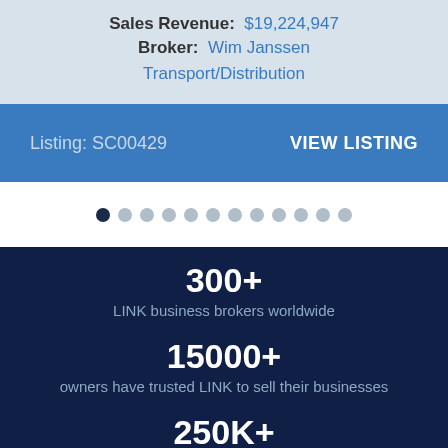Sales Revenue: $19,224,947
Broker: Wim Janssen
Transport/Distribution
Listing: SC00429   VIEW LISTING
[Figure (infographic): Pagination dots, first dot active (dark navy), followed by 11 lighter grey dots]
300+
LINK business brokers worldwide
15000+
owners have trusted LINK to sell their businesses
250K+